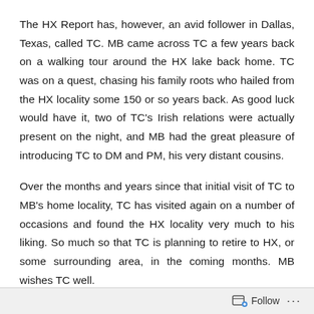The HX Report has, however, an avid follower in Dallas, Texas, called TC. MB came across TC a few years back on a walking tour around the HX lake back home. TC was on a quest, chasing his family roots who hailed from the HX locality some 150 or so years back. As good luck would have it, two of TC's Irish relations were actually present on the night, and MB had the great pleasure of introducing TC to DM and PM, his very distant cousins.
Over the months and years since that initial visit of TC to MB's home locality, TC has visited again on a number of occasions and found the HX locality very much to his liking. So much so that TC is planning to retire to HX, or some surrounding area, in the coming months. MB wishes TC well.
Follow ···